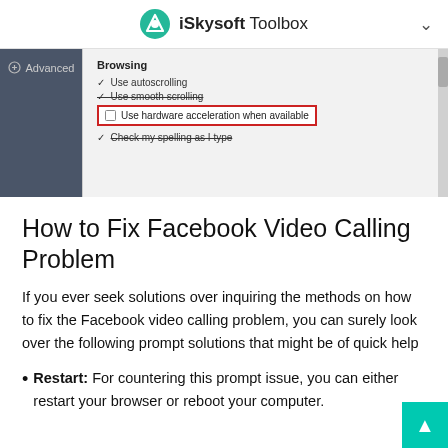iSkysoft Toolbox
[Figure (screenshot): Browser Advanced settings panel showing Browsing options: Use autoscrolling (checked), Use smooth scrolling (checked), Use hardware acceleration when available (unchecked, highlighted with red border), Check my spelling as I type (checked)]
How to Fix Facebook Video Calling Problem
If you ever seek solutions over inquiring the methods on how to fix the Facebook video calling problem, you can surely look over the following prompt solutions that might be of quick help
Restart: For countering this prompt issue, you can either restart your browser or reboot your computer.